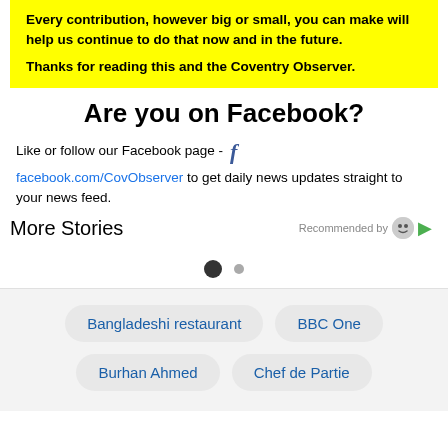Every contribution, however big or small, you can make will help us continue to do that now and in the future.
Thanks for reading this and the Coventry Observer.
Are you on Facebook?
Like or follow our Facebook page - facebook.com/CovObserver to get daily news updates straight to your news feed.
More Stories
Recommended by
Bangladeshi restaurant
BBC One
Burhan Ahmed
Chef de Partie